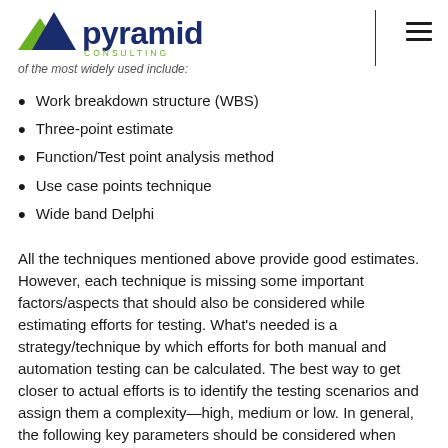pyramid consulting
of the most widely used include:
Work breakdown structure (WBS)
Three-point estimate
Function/Test point analysis method
Use case points technique
Wide band Delphi
All the techniques mentioned above provide good estimates. However, each technique is missing some important factors/aspects that should also be considered while estimating efforts for testing. What's needed is a strategy/technique by which efforts for both manual and automation testing can be calculated. The best way to get closer to actual efforts is to identify the testing scenarios and assign them a complexity—high, medium or low. In general, the following key parameters should be considered when